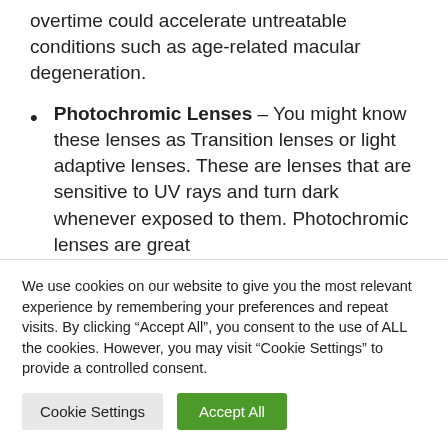overtime could accelerate untreatable conditions such as age-related macular degeneration.
Photochromic Lenses – You might know these lenses as Transition lenses or light adaptive lenses. These are lenses that are sensitive to UV rays and turn dark whenever exposed to them. Photochromic lenses are great
We use cookies on our website to give you the most relevant experience by remembering your preferences and repeat visits. By clicking “Accept All”, you consent to the use of ALL the cookies. However, you may visit “Cookie Settings” to provide a controlled consent.
Cookie Settings | Accept All